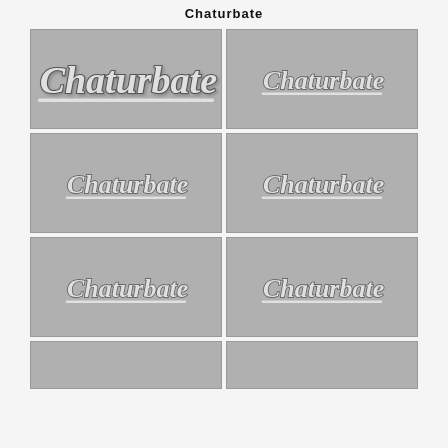Chaturbate
[Figure (screenshot): Grid of 8 Chaturbate placeholder thumbnail images arranged in 2 columns and 4 rows, each showing the Chaturbate logo on a gray background]
[Figure (screenshot): Chaturbate placeholder thumbnail]
[Figure (screenshot): Chaturbate placeholder thumbnail]
[Figure (screenshot): Chaturbate placeholder thumbnail]
[Figure (screenshot): Chaturbate placeholder thumbnail]
[Figure (screenshot): Chaturbate placeholder thumbnail]
[Figure (screenshot): Chaturbate placeholder thumbnail]
[Figure (screenshot): Chaturbate placeholder thumbnail (partial, bottom row)]
[Figure (screenshot): Chaturbate placeholder thumbnail (partial, bottom row)]